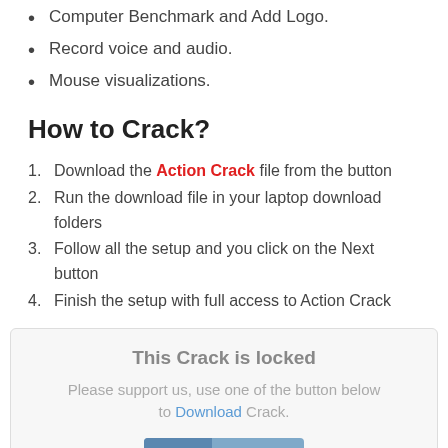Computer Benchmark and Add Logo.
Record voice and audio.
Mouse visualizations.
How to Crack?
Download the Action Crack file from the button
Run the download file in your laptop download folders
Follow all the setup and you click on the Next button
Finish the setup with full access to Action Crack
This Crack is locked
Please support us, use one of the button below to Download Crack.